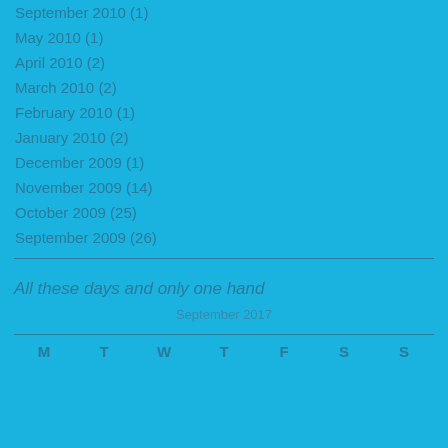September 2010 (1)
May 2010 (1)
April 2010 (2)
March 2010 (2)
February 2010 (1)
January 2010 (2)
December 2009 (1)
November 2009 (14)
October 2009 (25)
September 2009 (26)
All these days and only one hand
September 2017
M T W T F S S